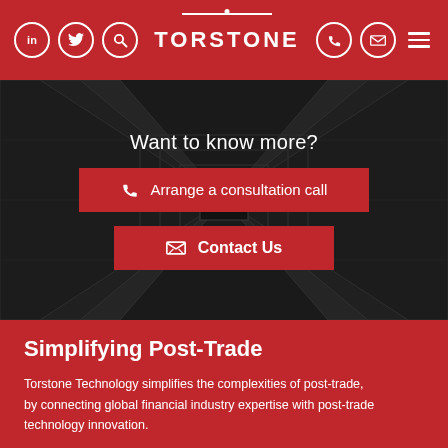TORSTONE
Want to know more?
Arrange a consultation call
Contact Us
Simplifying Post-Trade
Torstone Technology simplifies the complexities of post-trade, by connecting global financial industry expertise with post-trade technology innovation.
Accreditations